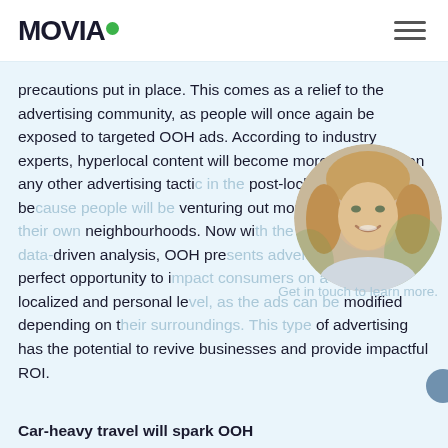MOVIA
precautions put in place. This comes as a relief to the advertising community, as people will once again be exposed to targeted OOH ads. According to industry experts, hyperlocal content will become more effective than any other advertising tactic in the post-lockdown world because people will be venturing out more frequently in their own neighbourhoods. Now with the development of data-driven analysis, OOH presents advertisers with the perfect opportunity to impact consumers on a more localized and personal level, as the ads can be modified depending on their surroundings. This type of advertising has the potential to revive businesses and provide impactful ROI.
[Figure (photo): Circular portrait photo of a smiling blonde woman outdoors]
Get in touch to learn more.
Car-heavy travel will spark OOH